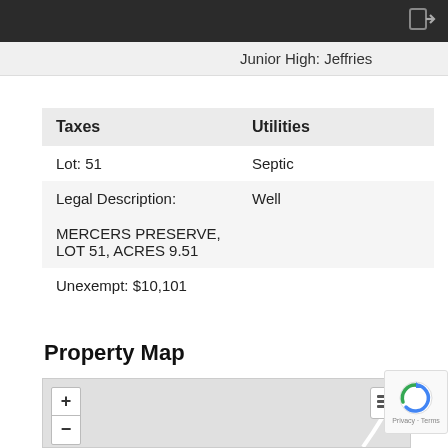Junior High: Jeffries
| Taxes | Utilities |
| --- | --- |
| Lot: 51 | Septic |
| Legal Description: | Well |
| MERCERS PRESERVE, LOT 51, ACRES 9.51 |  |
| Unexempt: $10,101 |  |
Property Map
[Figure (map): Property map with zoom controls (+/-) and a layers button. Shows a light gray road map background with a curved road line visible.]